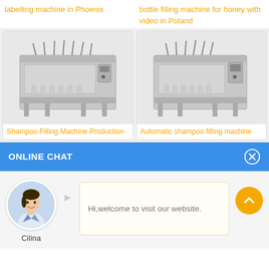labelling machine in Phoenix
bottle filling machine for honey with video in Poland
[Figure (photo): Industrial shampoo filling machine, stainless steel, multiple nozzles]
Shampoo Filling Machine Production
[Figure (photo): Automatic shampoo filling machine, stainless steel, multiple nozzles]
Automatic shampoo filling machine
ONLINE CHAT
[Figure (photo): Avatar photo of a woman named Cilina in business attire]
Cilina
Hi,welcome to visit our website.